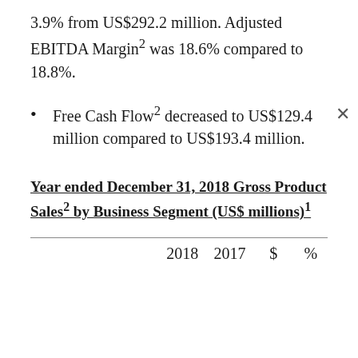3.9% from US$292.2 million. Adjusted EBITDA Margin2 was 18.6% compared to 18.8%.
Free Cash Flow2 decreased to US$129.4 million compared to US$193.4 million.
Year ended December 31, 2018 Gross Product Sales2 by Business Segment (US$ millions)1
|  | 2018 | 2017 | $ | % |
| --- | --- | --- | --- | --- |